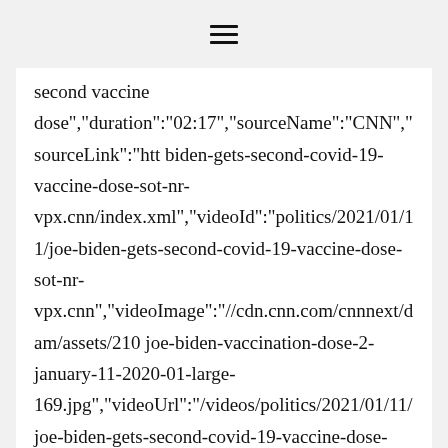≡
second vaccine dose","duration":"02:17","sourceName":"CNN","sourceLink":"htt biden-gets-second-covid-19-vaccine-dose-sot-nr-vpx.cnn/index.xml","videoId":"politics/2021/01/11/joe-biden-gets-second-covid-19-vaccine-dose-sot-nr-vpx.cnn","videoImage":"//cdn.cnn.com/cnnnext/dam/assets/210 joe-biden-vaccination-dose-2-january-11-2020-01-large-169.jpg","videoUrl":"/videos/politics/2021/01/11/joe-biden-gets-second-covid-19-vaccine-dose-sot-nr-vpx.cnn/video/playlists/coronavirus/","description":"President-elect Joe Biden emphasized the importance of wearing masks, social distancing and washing hands to help control the coronavirus pandemic after he took his